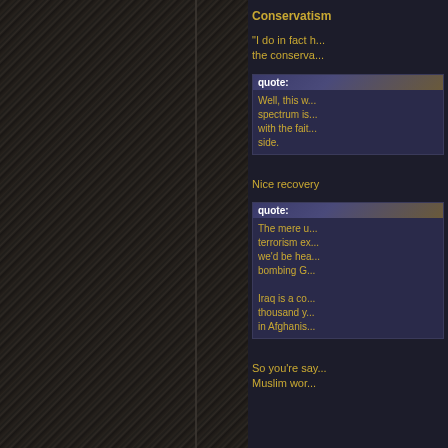[Figure (photo): Dark textured leather-like background with vertical panel dividers, occupying the left ~390px of the page]
Conservatism
"I do in fact h... the conserva...
quote: Well, this w... spectrum is... with the fai... side.
Nice recovery
quote: The mere u... terrorism ex... we'd be hea... bombing G...
Iraq is a co... thousand y... in Afghanis...
So you're say... Muslim wor...